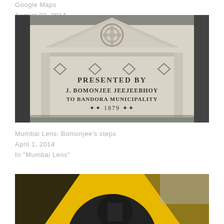Google Maps
August 22, 2014
In "Goa"
[Figure (photo): Stone monument inscription reading 'PRESENTED BY J. BOMONJEE JEEJEEBHOY TO BANDORA MUNICIPALITY 1879', with decorative carvings at the top including a floral rosette and diamond shapes]
Mumbai Lens: Bomonjee's steps
April 1, 2014
In "Mumbai Lens"
[Figure (photo): Close-up of a yellow and black painted surface, partially visible, appears to be street art or a painted sign]